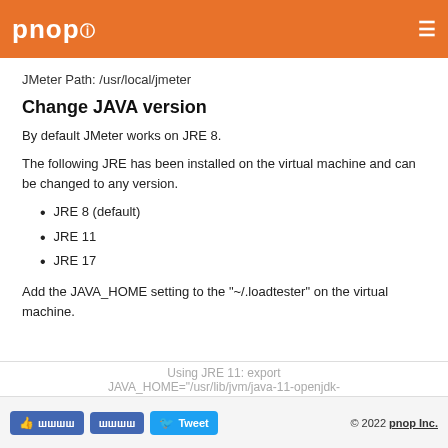pnop ☰
JMeter Path: /usr/local/jmeter
Change JAVA version
By default JMeter works on JRE 8.
The following JRE has been installed on the virtual machine and can be changed to any version.
JRE 8 (default)
JRE 11
JRE 17
Add the JAVA_HOME setting to the "~/.loadtester" on the virtual machine.
© 2022 pnop Inc.